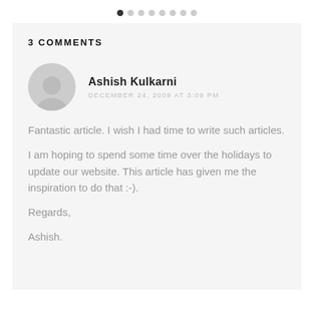● ○ ○ ○ ○ ○ ○ ○
3 COMMENTS
Ashish Kulkarni
DECEMBER 24, 2009 AT 3:09 PM
Fantastic article. I wish I had time to write such articles.

I am hoping to spend some time over the holidays to update our website. This article has given me the inspiration to do that :-).

Regards,

Ashish.